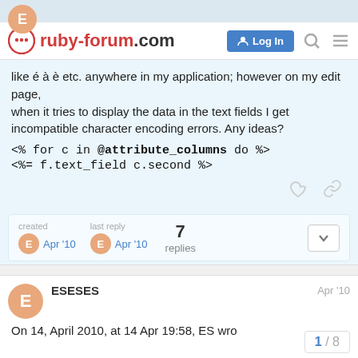[Figure (screenshot): Ruby-forum.com navigation bar with logo, Login button, search and menu icons]
like é à è etc. anywhere in my application; however on my edit page,
when it tries to display the data in the text fields I get incompatible character encoding errors. Any ideas?
<% for c in @attribute_columns do %>
<%= f.text_field c.second %>
created  Apr '10    last reply  Apr '10    7 replies
ESESES    Apr '10
On 14, April 2010, at 14 Apr 19:58, ES wro